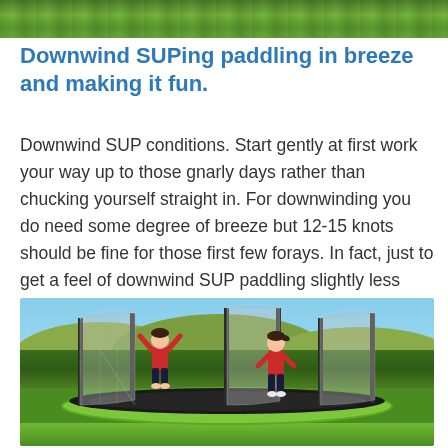[Figure (photo): Green grass/outdoor background strip at top of page]
Downwind SUPing paddling in breeze and making it fun.
Downwind SUP conditions. Start gently at first work your way up to those gnarly days rather than chucking yourself straight in. For downwinding you do need some degree of breeze but 12-15 knots should be fine for those first few forays. In fact, just to get a feel of downwind SUP paddling slightly less would work.
[Figure (photo): Two children in red shirts jumping on a large trampoline with safety net enclosure, in a green backyard with trees and mountains in background]